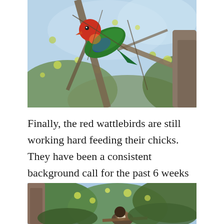[Figure (photo): A colorful rainbow lorikeet parrot perched on a tree branch among green and yellow foliage against a blue sky background.]
Finally, the red wattlebirds are still working hard feeding their chicks. They have been a consistent background call for the past 6 weeks or so.
[Figure (photo): A bird partially visible among leafy green tree branches with yellow flowers, blue sky in the background.]